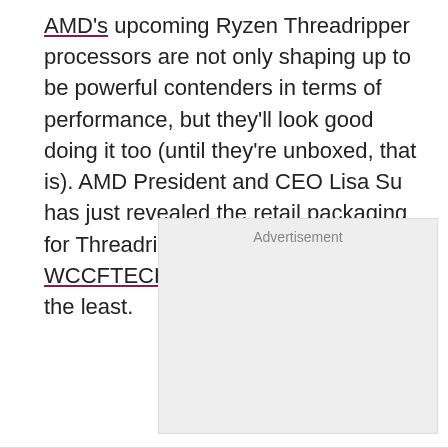AMD's upcoming Ryzen Threadripper processors are not only shaping up to be powerful contenders in terms of performance, but they'll look good doing it too (until they're unboxed, that is). AMD President and CEO Lisa Su has just revealed the retail packaging for Threadripper on Twitter (via WCCFTECH), and it's unique to say the least.
[Figure (other): Advertisement placeholder box with light gray background]